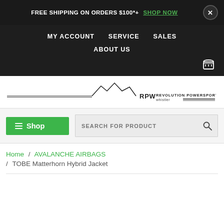FREE SHIPPING ON ORDERS $100*+ SHOP NOW
MY ACCOUNT
SERVICE
SALES
ABOUT US
[Figure (logo): RPW Revolution Powersports Whistler logo with mountain graphic and horizontal lines]
Shop
SEARCH FOR PRODUCT
Home / AVALANCHE AIRBAGS / TOBE Matterhorn Hybrid Jacket